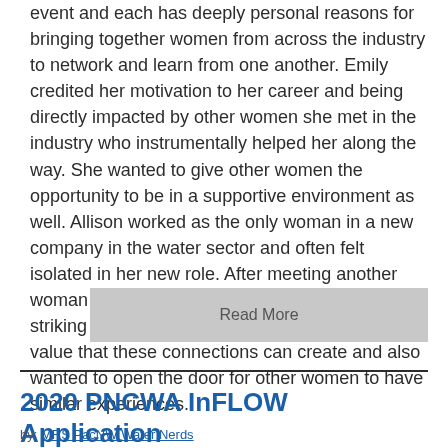event and each has deeply personal reasons for bringing together women from across the industry to network and learn from one another. Emily credited her motivation to her career and being directly impacted by other women she met in the industry who instrumentally helped her along the way. She wanted to give other women the opportunity to be in a supportive environment as well. Allison worked as the only woman in a new company in the water sector and often felt isolated in her new role. After meeting another woman at a PNCWA networking event and striking up a lasting friendship, she realized the value that these connections can create and also wanted to open the door for other women to have similar experiences.
Read More
2020 PNCWA InFLOW Application
by: MRS PacNW Water Nerds